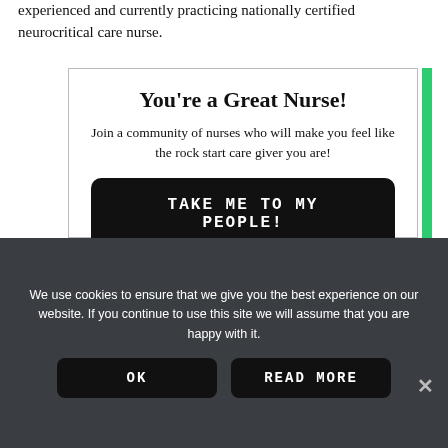experienced and currently practicing nationally certified neurocritical care nurse.
You're a Great Nurse!
Join a community of nurses who will make you feel like the rock start care giver you are!
TAKE ME TO MY PEOPLE!
We use cookies to ensure that we give you the best experience on our website. If you continue to use this site we will assume that you are happy with it.
OK
READ MORE